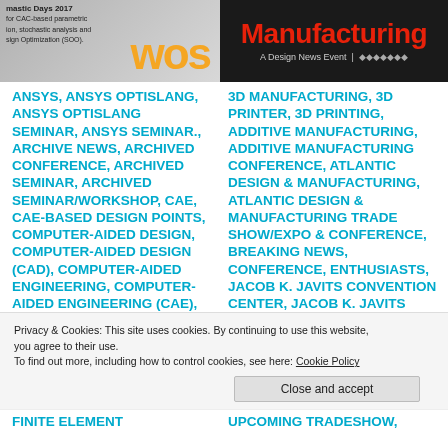[Figure (screenshot): Left banner image: dark background with WOS text in orange and partial text about CAC-based parametric analysis and design optimization]
[Figure (screenshot): Right banner image: dark background with red Manufacturing text and 'A Design News Event' subtitle]
ANSYS, ANSYS OPTISLANG, ANSYS OPTISLANG SEMINAR, ANSYS SEMINAR., ARCHIVE NEWS, ARCHIVED CONFERENCE, ARCHIVED SEMINAR, ARCHIVED SEMINAR/WORKSHOP, CAE, CAE-BASED DESIGN POINTS, COMPUTER-AIDED DESIGN, COMPUTER-AIDED DESIGN (CAD), COMPUTER-AIDED ENGINEERING, COMPUTER-AIDED ENGINEERING (CAE), CONFERENCE, CONGRESS
3D MANUFACTURING, 3D PRINTER, 3D PRINTING, ADDITIVE MANUFACTURING, ADDITIVE MANUFACTURING CONFERENCE, ATLANTIC DESIGN & MANUFACTURING, ATLANTIC DESIGN & MANUFACTURING TRADE SHOW/EXPO & CONFERENCE, BREAKING NEWS, CONFERENCE, ENTHUSIASTS, JACOB K. JAVITS CONVENTION CENTER, JACOB K. JAVITS CONVENTION CENTER, NEW YORK, NY, LATEST
Privacy & Cookies: This site uses cookies. By continuing to use this website, you agree to their use.
To find out more, including how to control cookies, see here: Cookie Policy
Close and accept
FINITE ELEMENT
UPCOMING TRADESHOW,